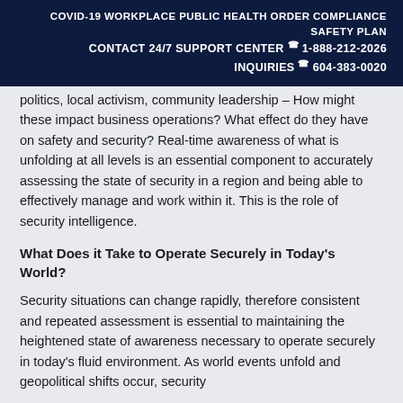COVID-19 WORKPLACE PUBLIC HEALTH ORDER COMPLIANCE SAFETY PLAN
CONTACT 24/7 SUPPORT CENTER ☎ 1-888-212-2026
INQUIRIES ☎ 604-383-0020
politics, local activism, community leadership – How might these impact business operations? What effect do they have on safety and security? Real-time awareness of what is unfolding at all levels is an essential component to accurately assessing the state of security in a region and being able to effectively manage and work within it. This is the role of security intelligence.
What Does it Take to Operate Securely in Today's World?
Security situations can change rapidly, therefore consistent and repeated assessment is essential to maintaining the heightened state of awareness necessary to operate securely in today's fluid environment. As world events unfold and geopolitical shifts occur, security